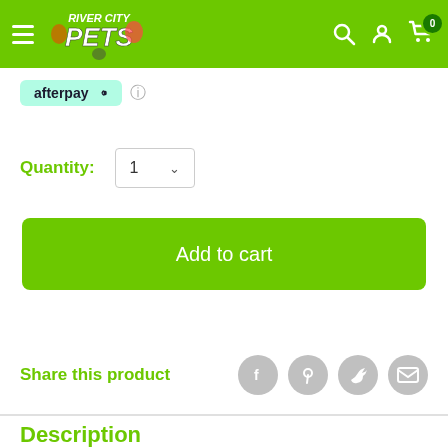[Figure (logo): River City Pets logo with animals on green navbar]
afterpay
Quantity: 1
Add to cart
Share this product
Description